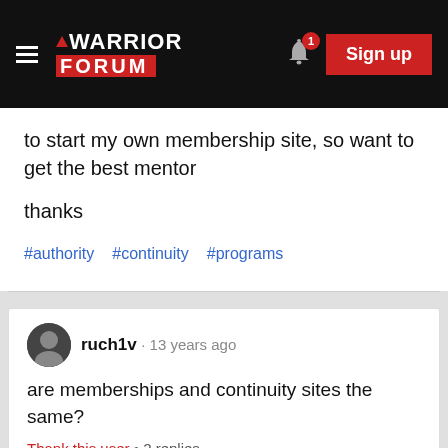Warrior Forum — Sign up
to start my own membership site, so want to get the best mentor

thanks
#authority  #continuity  #programs
ruch1v · 13 years ago
are memberships and continuity sites the same?
Thank this user  •  2 replies
SIGNATURE